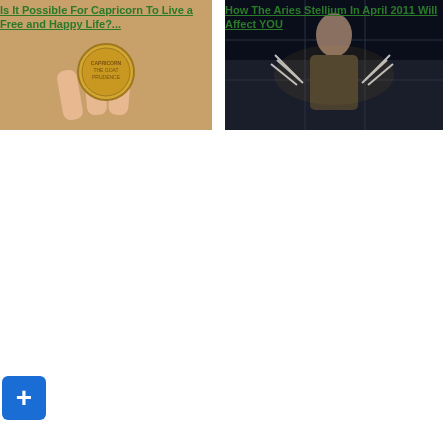[Figure (photo): Young man making a gesture, looking sideways]
What's The Difference Between Progressions and Solar Arcs?
[Figure (photo): Silver Pisces fish zodiac charm/pendant]
Pisces Woman Struggles Mightily With Aries Husband
[Figure (photo): Capricorn gold coin charm with text: Capricorn The Goat Prudence]
Is It Possible For Capricorn To Live a Free and Happy Life?...
[Figure (photo): Man in dark scene with claws extended (Wolverine-style)]
How The Aries Stellium In April 2011 Will Affect YOU